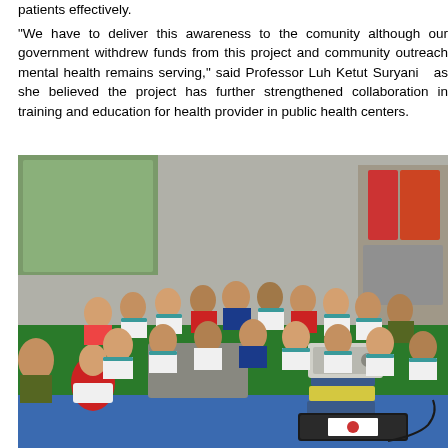patients effectively. "We have to deliver this awareness to the comunity although our government withdrew funds from this project and community outreach mental health remains se... Professor Luh Ketut Suryani as she believed the project has further s... collaboration in training and education for health provider in public health ce...
[Figure (photo): A group of people sitting cross-legged on a green mat on the floor in a room, appearing to attend a community health training session. A presenter in a red top sits on the left facing the group. A laptop and projector are visible on the right side of the room.]